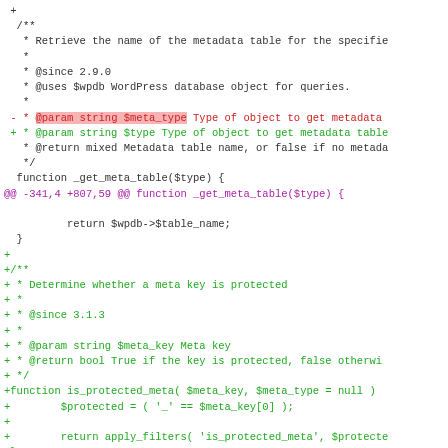Code diff showing changes to WordPress metadata functions, including _get_meta_table and is_protected_meta